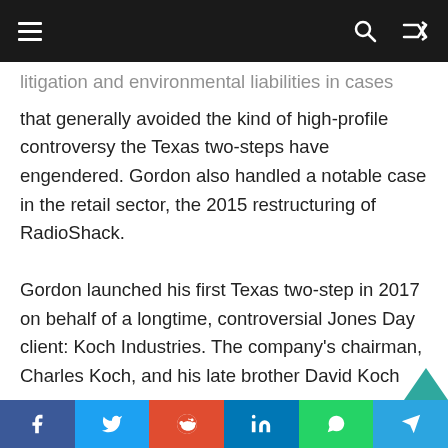Navigation bar with menu, search, and shuffle icons
litigation and environmental liabilities in cases that generally avoided the kind of high-profile controversy the Texas two-steps have engendered. Gordon also handled a notable case in the retail sector, the 2015 restructuring of RadioShack.
Gordon launched his first Texas two-step in 2017 on behalf of a longtime, controversial Jones Day client: Koch Industries. The company's chairman, Charles Koch, and his late brother David Koch have been prominent Republican political donors and supported an array of pro-business lobbying efforts, including those seeking to limit damage awards in injury lawsuits.
Social share bar: Facebook, Twitter, Reddit, LinkedIn, WhatsApp, Telegram